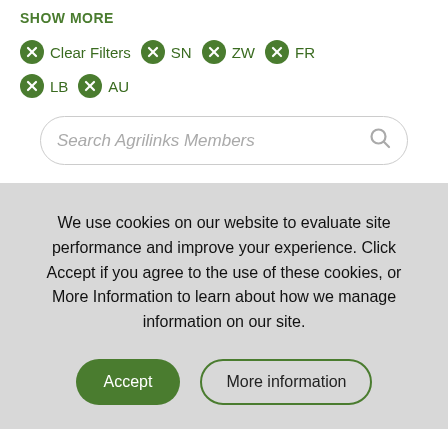SHOW MORE
Clear Filters
SN
ZW
FR
LB
AU
Search Agrilinks Members
We use cookies on our website to evaluate site performance and improve your experience. Click Accept if you agree to the use of these cookies, or More Information to learn about how we manage information on our site.
Accept
More information